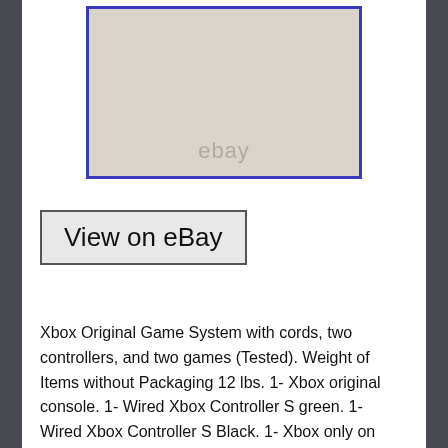[Figure (photo): eBay product photo placeholder showing a light beige/grey background with 'ebay' watermark text, bordered with a blue rectangle frame]
View on eBay
Xbox Original Game System with cords, two controllers, and two games (Tested). Weight of Items without Packaging 12 lbs. 1- Xbox original console. 1- Wired Xbox Controller S green. 1- Wired Xbox Controller S Black. 1- Xbox only on Xbox Jade Empire limited edition with jewel case and instructions. 1- Xbox Halo Combat Evolved Game of the Year with Jewel case and instructions. Condition: In good condition. Bundle has been play tested and is in working